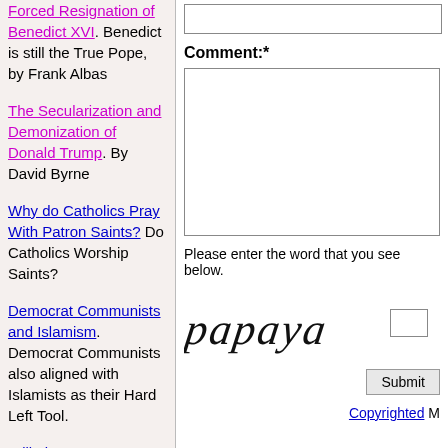Forced Resignation of Benedict XVI. Benedict is still the True Pope, by Frank Albas
The Secularization and Demonization of Donald Trump. By David Byrne
Why do Catholics Pray With Patron Saints? Do Catholics Worship Saints?
Democrat Communists and Islamism. Democrat Communists also aligned with Islamists as their Hard Left Tool.
Still Time To Get It Right. "Once you understand the role of energy in everything, you can begin to appreciate why there's simply nothing more important to get right.
Comment:*
Please enter the word that you see below.
[Figure (other): CAPTCHA image showing the word 'papaya' in stylized italic handwriting font]
Copyrighted M